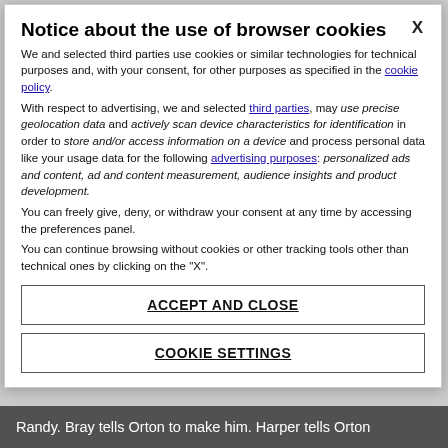Notice about the use of browser cookies
We and selected third parties use cookies or similar technologies for technical purposes and, with your consent, for other purposes as specified in the cookie policy.
With respect to advertising, we and selected third parties, may use precise geolocation data and actively scan device characteristics for identification in order to store and/or access information on a device and process personal data like your usage data for the following advertising purposes: personalized ads and content, ad and content measurement, audience insights and product development.
You can freely give, deny, or withdraw your consent at any time by accessing the preferences panel.
You can continue browsing without cookies or other tracking tools other than technical ones by clicking on the "X".
ACCEPT AND CLOSE
COOKIE SETTINGS
Randy. Bray tells Orton to make him. Harper tells Orton